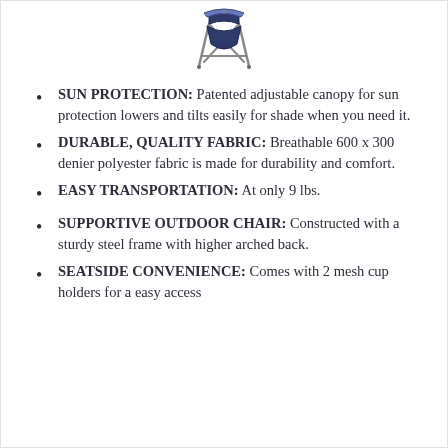[Figure (photo): Folding outdoor chair with canopy, viewed from slight angle, dark blue fabric with steel frame]
SUN PROTECTION: Patented adjustable canopy for sun protection lowers and tilts easily for shade when you need it.
DURABLE, QUALITY FABRIC: Breathable 600 x 300 denier polyester fabric is made for durability and comfort.
EASY TRANSPORTATION: At only 9 lbs.
SUPPORTIVE OUTDOOR CHAIR: Constructed with a sturdy steel frame with higher arched back.
SEATSIDE CONVENIENCE: Comes with 2 mesh cup holders for a easy access